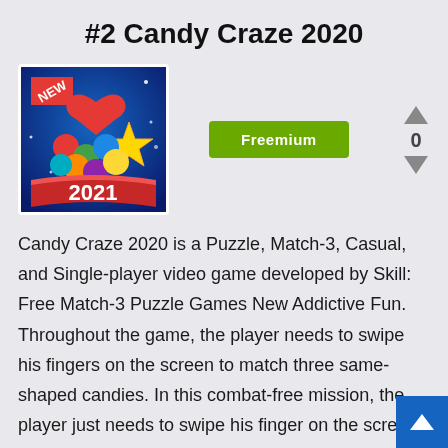#2 Candy Craze 2020
[Figure (illustration): App icon for Candy Craze 2020 game showing colorful candies, a star, heart, and '2021' text on a blue background with 'NEW' badge]
[Figure (other): Freemium badge - green button with white text reading 'Freemium']
[Figure (other): Vote arrows with up arrow, 0 count, and down arrow]
Candy Craze 2020 is a Puzzle, Match-3, Casual, and Single-player video game developed by Skill: Free Match-3 Puzzle Games New Addictive Fun. Throughout the game, the player needs to swipe his fingers on the screen to match three same-shaped candies. In this combat-free mission, the player just needs to swipe his finger on the screen and comp the ball...